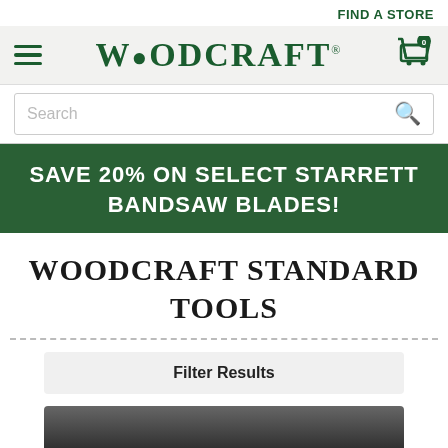FIND A STORE
[Figure (logo): Woodcraft logo with hamburger menu icon on left and shopping cart icon with badge '0' on right, on a light gray navigation bar]
Search
SAVE 20% ON SELECT STARRETT BANDSAW BLADES!
WOODCRAFT STANDARD TOOLS
Filter Results